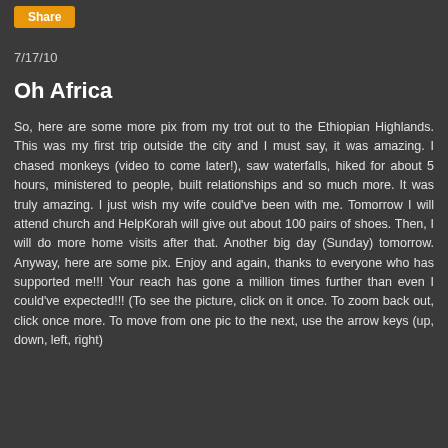Share
7/17/10
Oh Africa
So, here are some more pix from my trot out to the Ethiopian Highlands. This was my first trip outside the city and I must say, it was amazing. I chased monkeys (video to come later!), saw waterfalls, hiked for about 5 hours, ministered to people, built relationships and so much more. It was truly amazing. I just wish my wife could've been with me. Tomorrow I will attend church and HelpKorah will give out about 100 pairs of shoes. Then, I will do more home visits after that. Another big day (Sunday) tomorrow. Anyway, here are some pix. Enjoy and again, thanks to everyone who has supported me!!! Your reach has gone a million times further than even I could've expected!!! (To see the picture, click on it once. To zoom back out, click once more. To move from one pic to the next, use the arrow keys (up, down, left, right)